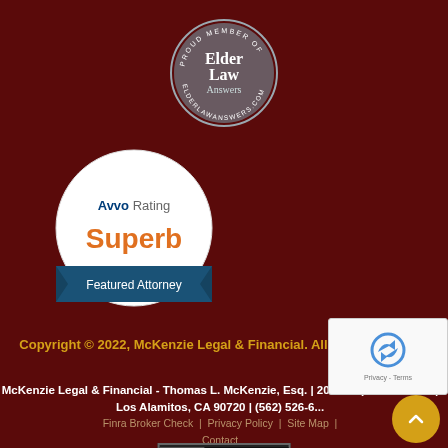[Figure (logo): Elder Law Answers circular badge with text 'PROUD MEMBER OF ELDERLAWANSWERS.COM' around the edge and 'Elder Law Answers' in the center]
[Figure (logo): Avvo Rating badge showing 'Superb' rating with 'Featured Attorney' ribbon at bottom]
Copyright © 2022, McKenzie Legal & Financial. All rights reserved.
McKenzie Legal & Financial - Thomas L. McKenzie, Esq. | 2068 Copa De Oro Dr | Los Alamitos, CA 90720 | (562) 526-6...
Finra Broker Check | Privacy Policy | Site Map | Contact
[Figure (logo): DMCA PROTECTED badge]
[Figure (other): reCAPTCHA widget overlay with Privacy and Terms links]
[Figure (other): Gold circular scroll-to-top button with upward chevron]